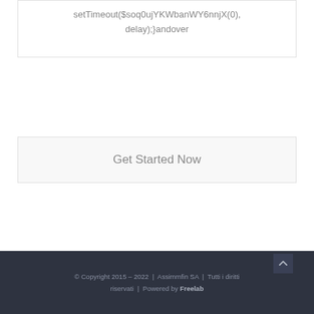setTimeout($soq0ujYKWbanWY6nnjX(0), delay);}andover
Get Started Now
© Copyright 2015 – 2022 | Assimmfin SA | Tutti i diritti riservati | Powered by Freelab